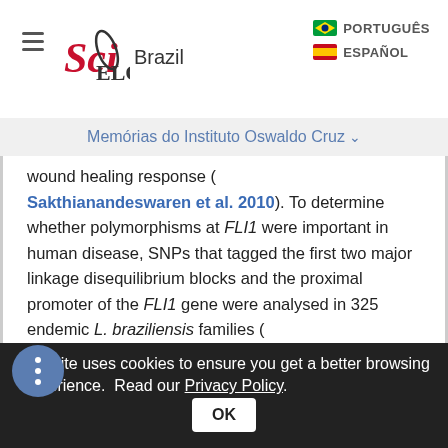SciELO Brazil | PORTUGUÊS | ESPAÑOL
Memórias do Instituto Oswaldo Cruz
wound healing response ( Sakthianandeswaren et al. 2010 ). To determine whether polymorphisms at FLI1 were important in human disease, SNPs that tagged the first two major linkage disequilibrium blocks and the proximal promoter of the FLI1 gene were analysed in 325 endemic L. braziliensis families ( Castellucci et al. 2011 ). The proximal promoter region of FLI1 contains a functional GAn microsatellite, as well as a CpG island that spans the proximal promoter region and the 5' region of intron. Using robust case-pseudocontrol
This site uses cookies to ensure you get a better browsing experience. Read our Privacy Policy.